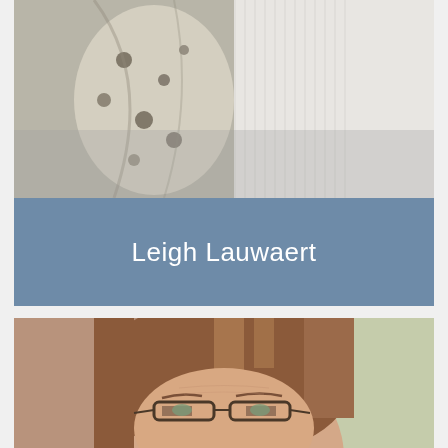[Figure (photo): Close-up photograph of a person wearing a floral scarf and white knit top, cropped to upper torso area, in black and white tones]
Leigh Lauwaert
[Figure (photo): Portrait photograph of a woman with reddish-brown hair and glasses, looking slightly downward, with a blurred brick and green background behind her]